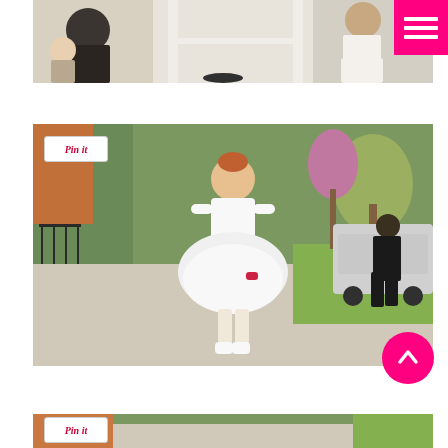[Figure (photo): Indoor scene with children and adults near a doorway; a child in white dress visible from behind]
[Figure (photo): A young red-haired girl in a white flower girl dress and white sneakers standing on a sidewalk in a residential street, other people in background]
[Figure (photo): Partial view of another outdoor photo on a residential street, partially cut off at page bottom]